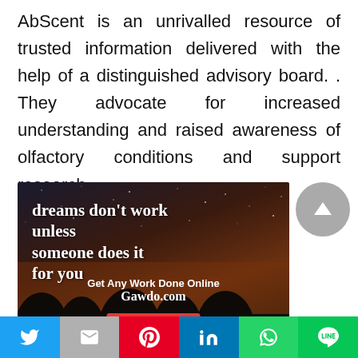AbScent is an unrivalled resource of trusted information delivered with the help of a distinguished advisory board. . They advocate for increased understanding and raised awareness of olfactory conditions and support research.
[Figure (illustration): Advertisement banner with dark starry night sky background and silhouette of trees. White bold text reads 'dreams don't work unless someone does it for you'. Below: 'Get Any Work Done Online' and 'Gawdo.com' in white bold text. A red 'Check Now' button at the bottom.]
[Figure (other): Grey circular scroll-to-top button with upward triangle arrow icon.]
[Figure (infographic): Social sharing bar with six buttons: Twitter (blue bird icon), Email/Gmail (grey M icon), Pinterest (red P icon), LinkedIn (blue in icon), WhatsApp (green phone icon), Line (green chat icon).]